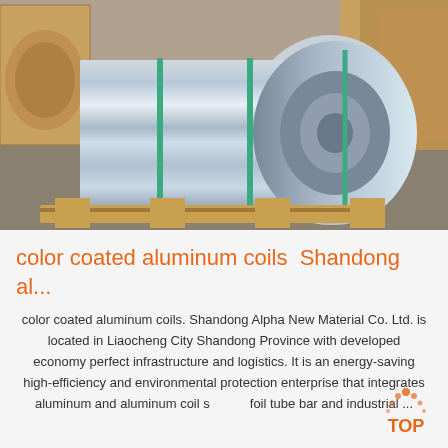[Figure (photo): A large aluminum coil on a wooden pallet in a warehouse, with other cardboard-wrapped coils stacked in the background. The aluminum coil has green strapping bands.]
color coated aluminum coils  Shandong al...
color coated aluminum coils. Shandong Alpha New Material Co. Ltd. is located in Liaocheng City Shandong Province with developed economy perfect infrastructure and logistics. It is an energy-saving high-efficiency and environmental protection enterprise that integrates aluminum and aluminum coil strip foil tube bar and industrial ...